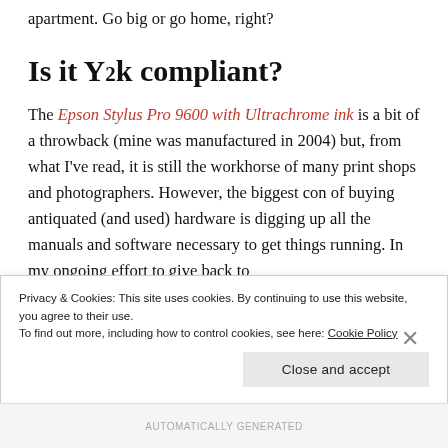apartment. Go big or go home, right?
Is it Y2k compliant?
The Epson Stylus Pro 9600 with Ultrachrome ink is a bit of a throwback (mine was manufactured in 2004) but, from what I've read, it is still the workhorse of many print shops and photographers. However, the biggest con of buying antiquated (and used) hardware is digging up all the manuals and software necessary to get things running. In my ongoing effort to give back to
Privacy & Cookies: This site uses cookies. By continuing to use this website, you agree to their use. To find out more, including how to control cookies, see here: Cookie Policy
Close and accept